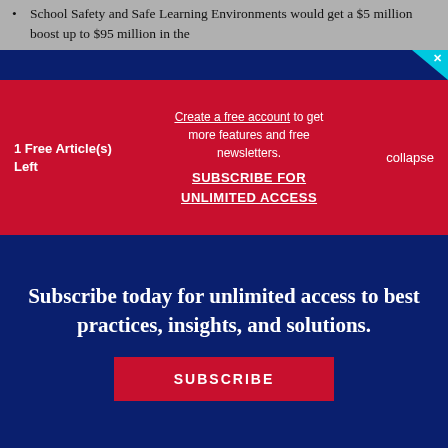School Safety and Safe Learning Environments would get a $5 million boost up to $95 million in the
1 Free Article(s) Left
Create a free account to get more features and free newsletters. SUBSCRIBE FOR UNLIMITED ACCESS
collapse
Subscribe today for unlimited access to best practices, insights, and solutions.
SUBSCRIBE